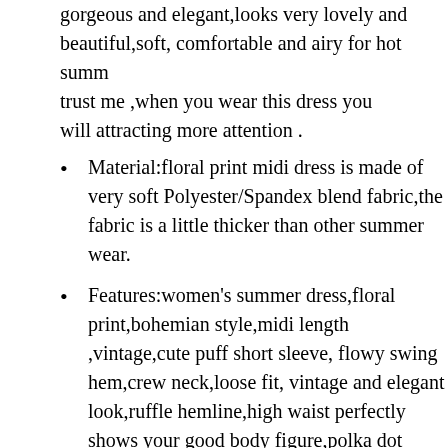gorgeous and elegant,looks very lovely and beautiful,soft, comfortable and airy for hot summ trust me ,when you wear this dress you will attracting more attention .
Material:floral print midi dress is made of very soft Polyester/Spandex blend fabric,the fabric is a little thicker than other summer wear.
Features:women's summer dress,floral print,bohemian style,midi length ,vintage,cute puff short sleeve, flowy swing hem,crew neck,loose fit, vintage and elegant look,ruffle hemline,high waist perfectly shows your good body figure,polka dot printed,flare A-line mini dresses,your best choice for